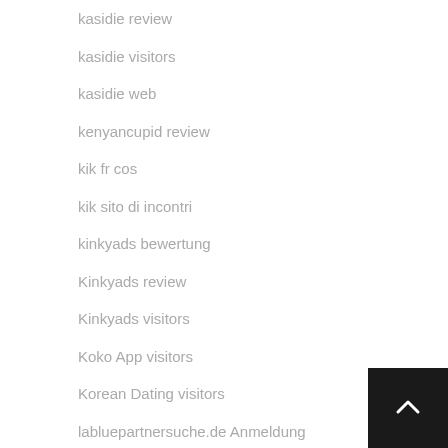kasidie review
kasidie visitors
kasidie web
kenyancupid review
kik fr cos
kik sito di incontri
kinkyads bewertung
Kinkyads review
Kinkyads visitors
Koko App visitors
Korean Dating visitors
labluepartnersuche.de Anmeldung
large friends avis